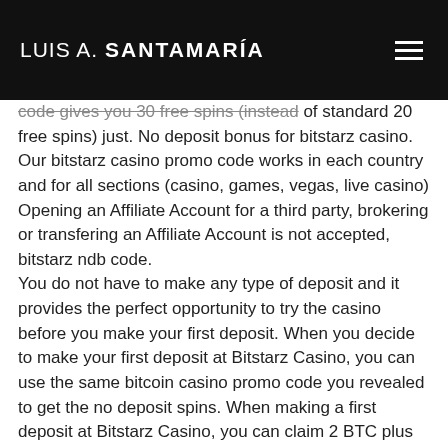LUIS A. SANTAMARÍA
code gives you 30 free spins (instead of standard 20 free spins) just. No deposit bonus for bitstarz casino. Our bitstarz casino promo code works in each country and for all sections (casino, games, vegas, live casino) Opening an Affiliate Account for a third party, brokering or transfering an Affiliate Account is not accepted, bitstarz ndb code.
You do not have to make any type of deposit and it provides the perfect opportunity to try the casino before you make your first deposit. When you decide to make your first deposit at Bitstarz Casino, you can use the same bitcoin casino promo code you revealed to get the no deposit spins. When making a first deposit at Bitstarz Casino, you can claim 2 BTC plus 210 free spins, which is a very tempting offer, bitstarz обзор.
Moving on and we come to another of the